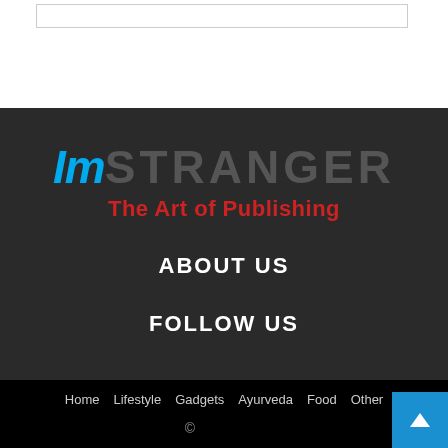[Figure (logo): ImStranger logo with tagline 'The Art of Publishing'. 'Im' in bold italic cyan/blue, 'STRANGER' in gray uppercase, tagline in red below.]
ABOUT US
FOLLOW US
Home  Lifestyle  Gadgets  Ayurveda  Food  Other
©